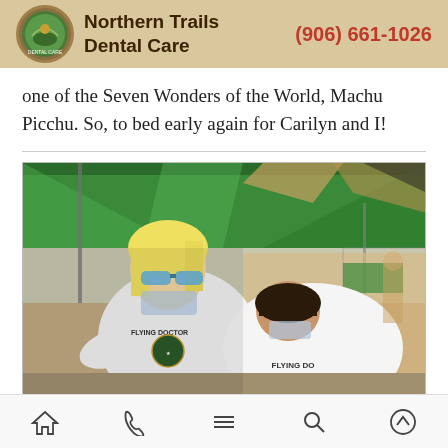Northern Trails Dental Care | (906) 661-1026
one of the Seven Wonders of the World, Machu Picchu. So, to bed early again for Carilyn and I!
[Figure (photo): Two women wearing white 'Flying Doctors of America' t-shirts working under a green outdoor tent canopy. One woman has blonde hair and blue sunglasses, both are wearing masks.]
Navigation bar with home, phone, menu, search, and scroll-up icons